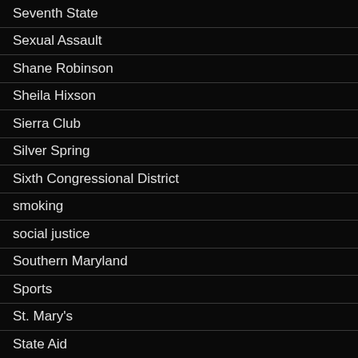Seventh State
Sexual Assault
Shane Robinson
Sheila Hixson
Sierra Club
Silver Spring
Sixth Congressional District
smoking
social justice
Southern Maryland
Sports
St. Mary's
State Aid